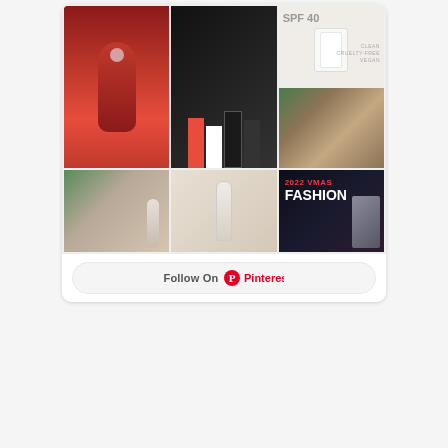[Figure (screenshot): Pinterest widget showing a grid of 6 fashion and beauty images including SPF 40 product, red floral dress, VMAs group photo, face closeup, foundation bottles, and 2022 VMAs Fashion collage, with a Follow On Pinterest button]
DREAMINLACE JOURNAL ON AMAZON
[Figure (photo): Partial view of what appears to be a journal or book with dark and mint colored design elements]